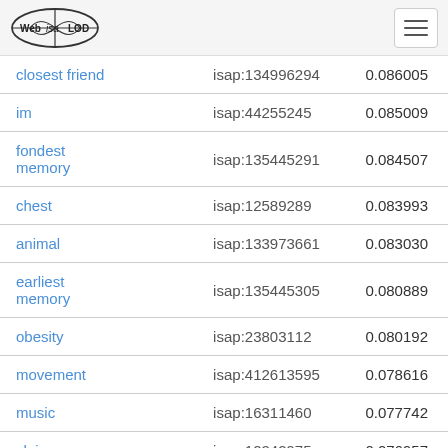Web ISA LOD
| term | isap | score |
| --- | --- | --- |
| closest friend | isap:134996294 | 0.086005 |
| im | isap:44255245 | 0.085009 |
| fondest memory | isap:135445291 | 0.084507 |
| chest | isap:12589289 | 0.083993 |
| animal | isap:133973661 | 0.083030 |
| earliest memory | isap:135445305 | 0.080889 |
| obesity | isap:23803112 | 0.080192 |
| movement | isap:412613595 | 0.078616 |
| music | isap:16311460 | 0.077742 |
| claim | isap:12242975 | 0.076957 |